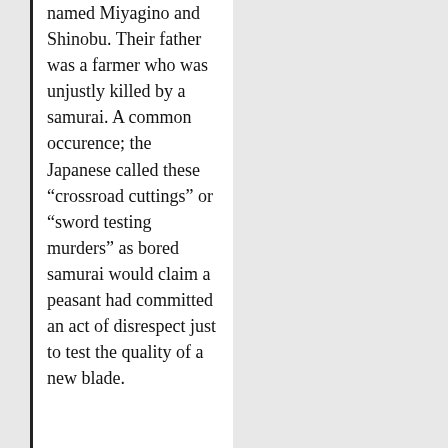named Miyagino and Shinobu. Their father was a farmer who was unjustly killed by a samurai. A common occurence; the Japanese called these “crossroad cuttings” or “sword testing murders” as bored samurai would claim a peasant had committed an act of disrespect just to test the quality of a new blade.